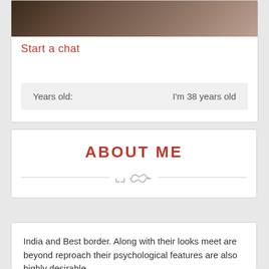[Figure (photo): Partial view of a person in clothing, cropped at top of card]
Start a chat
Years old:    I'm 38 years old
ABOUT ME
India and Best border. Along with their looks meet are beyond reproach their psychological features are also highly desirable